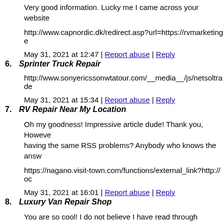Very good information. Lucky me I came across your website
http://www.capnordic.dk/redirect.asp?url=https://rvmarketinge
May 31, 2021 at 12:47 | Report abuse | Reply
6. Sprinter Truck Repair
http://www.sonyericssonwtatour.com/__media__/js/netsoltrade
May 31, 2021 at 15:34 | Report abuse | Reply
7. RV Repair Near My Location
Oh my goodness! Impressive article dude! Thank you, Howeve having the same RSS problems? Anybody who knows the answ
https://nagano.visit-town.com/functions/external_link?http://oc
May 31, 2021 at 16:01 | Report abuse | Reply
8. Luxury Van Repair Shop
You are so cool! I do not believe I have read through somethin for starting this up. This website is something that is required o
http://www.pickyourownchristmastree.org/XMTRD.php?PAGGE=/WashingtonStateTreeRecyclingDisposal.php&NAM